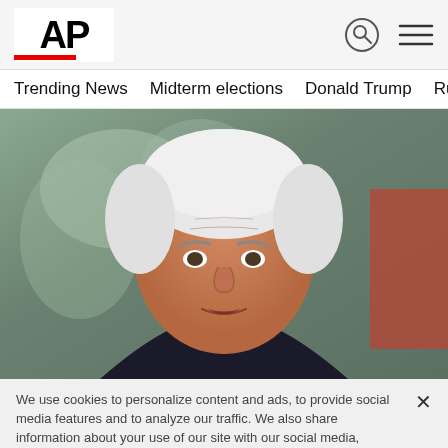AP
Trending News   Midterm elections   Donald Trump   Russia-Ukr
[Figure (photo): Close-up photo of a white-haired man (Mike Pence) speaking, with a blurred colorful background and a person in red visible behind him.]
We use cookies to personalize content and ads, to provide social media features and to analyze our traffic. We also share information about your use of our site with our social media, advertising and analytics partners. Privacy Policy
Cookies Settings   Accept All Cookies